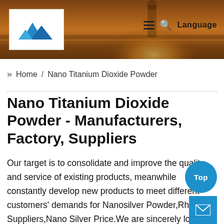[Figure (screenshot): Website header banner with orange/golden sunset background, mountain logo on white box at left, hamburger menu, search icon, and Language text at right]
» Home / Nano Titanium Dioxide Powder
Nano Titanium Dioxide Powder - Manufacturers, Factory, Suppliers
Our target is to consolidate and improve the quality and service of existing products, meanwhile constantly develop new products to meet different customers' demands for Nanosilver Powder,Rhodium Suppliers,Nano Silver Price.We are sincerely looking forward to establishing good cooperative relationships with customers from at home and abroad for creating a bright future together. Our product will supply to all over the world, such as Europe, A...